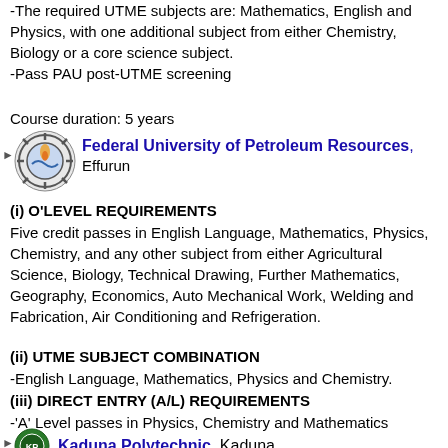-The required UTME subjects are: Mathematics, English and Physics, with one additional subject from either Chemistry, Biology or a core science subject.
-Pass PAU post-UTME screening
Course duration: 5 years
Federal University of Petroleum Resources, Effurun
(i) O'LEVEL REQUIREMENTS
Five credit passes in English Language, Mathematics, Physics, Chemistry, and any other subject from either Agricultural Science, Biology, Technical Drawing, Further Mathematics, Geography, Economics, Auto Mechanical Work, Welding and Fabrication, Air Conditioning and Refrigeration.
(ii) UTME SUBJECT COMBINATION
-English Language, Mathematics, Physics and Chemistry.
(iii) DIRECT ENTRY (A/L) REQUIREMENTS
-'A' Level passes in Physics, Chemistry and Mathematics
Kaduna Polytechnic, Kaduna